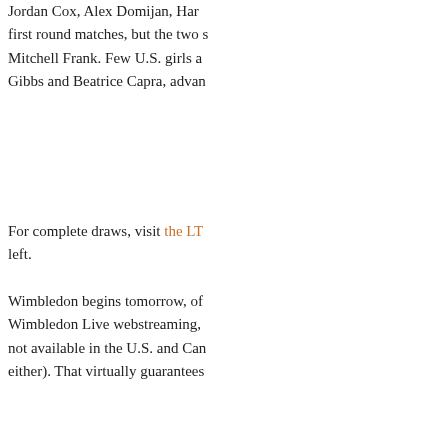Jordan Cox, Alex Domijan, Har... first round matches, but the two s... Mitchell Frank. Few U.S. girls a... Gibbs and Beatrice Capra, advan...
For complete draws, visit the LTA... left.
Wimbledon begins tomorrow, of... Wimbledon Live webstreaming,... not available in the U.S. and Can... either). That virtually guarantees...
Two teenagers who are guarantee... are wild cards Michelle Larcher d... volume and Robson for her natio... one apiece. Chris Clarey of the M... crossed the line that has been esta... plays Klara Zakopalova of the C...